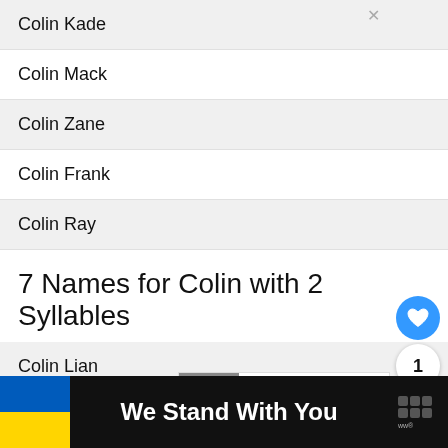Colin Kade
Colin Mack
Colin Zane
Colin Frank
Colin Ray
7 Names for Colin with 2 Syllables
Colin Lian
Colin Brian
Colin Taylor
Colin Lukas
Colin Joel
We Stand With You